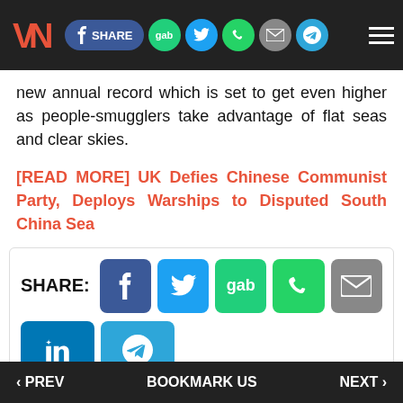VN | SHARE | gab | [twitter] | [whatsapp] | [email] | [telegram] | [menu]
new annual record which is set to get even higher as people-smugglers take advantage of flat seas and clear skies.
[READ MORE] UK Defies Chinese Communist Party, Deploys Warships to Disputed South China Sea
[Figure (infographic): Social share buttons: Facebook, Twitter, gab, WhatsApp, Email, LinkedIn, Telegram]
tags: illegal alien | migrants
‹ PREV    BOOKMARK US    NEXT ›